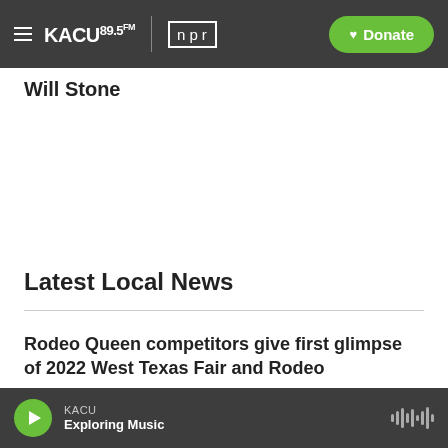KACU 89.5FM | npr — Donate
Will Stone
Latest Local News
Rodeo Queen competitors give first glimpse of 2022 West Texas Fair and Rodeo
KACU — Exploring Music